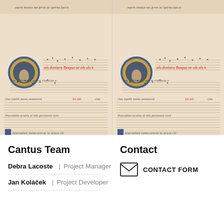[Figure (illustration): Two side-by-side panels showing the same illuminated medieval manuscript page with musical notation (plainchant), decorated initial letters in blue and gold, and Latin text in Gothic script. The manuscript features ornate illuminated initials and neumes on a parchment-colored background.]
Cantus Team
Contact
Debra Lacoste | Project Manager
Jan Koláček | Project Developer
CONTACT FORM